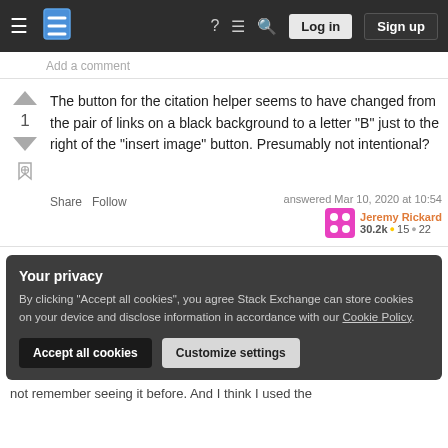Stack Exchange navigation bar with hamburger menu, logo, help, chat, search, Log in, Sign up
Add a comment
The button for the citation helper seems to have changed from the pair of links on a black background to a letter "B" just to the right of the "insert image" button. Presumably not intentional?
Share Follow   answered Mar 10, 2020 at 10:54   Jeremy Rickard   30.2k ● 15 ● 22
Your privacy
By clicking "Accept all cookies", you agree Stack Exchange can store cookies on your device and disclose information in accordance with our Cookie Policy.
Accept all cookies   Customize settings
not remember seeing it before. And I think I used the